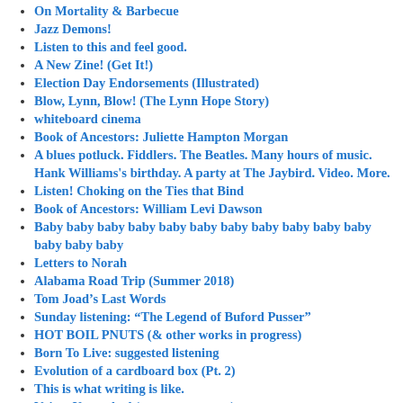On Mortality & Barbecue
Jazz Demons!
Listen to this and feel good.
A New Zine! (Get It!)
Election Day Endorsements (Illustrated)
Blow, Lynn, Blow! (The Lynn Hope Story)
whiteboard cinema
Book of Ancestors: Juliette Hampton Morgan
A blues potluck. Fiddlers. The Beatles. Many hours of music. Hank Williams's birthday. A party at The Jaybird. Video. More.
Listen! Choking on the Ties that Bind
Book of Ancestors: William Levi Dawson
Baby baby baby baby baby baby baby baby baby baby baby baby baby baby
Letters to Norah
Alabama Road Trip (Summer 2018)
Tom Joad's Last Words
Sunday listening: “The Legend of Buford Pusser”
HOT BOIL PNUTS (& other works in progress)
Born To Live: suggested listening
Evolution of a cardboard box (Pt. 2)
This is what writing is like.
Voices Unearthed (some great news)
Jug Bands!